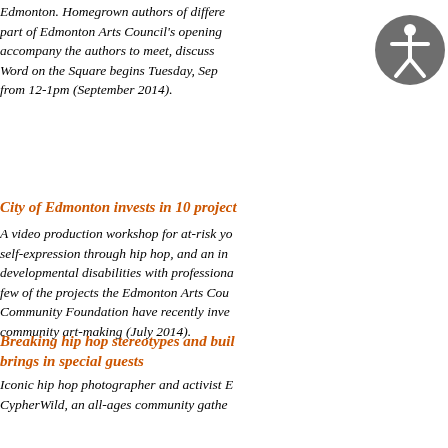Edmonton. Homegrown authors of different... part of Edmonton Arts Council's opening... accompany the authors to meet, discuss... Word on the Square begins Tuesday, Sep... from 12-1pm (September 2014).
City of Edmonton invests in 10 project...
A video production workshop for at-risk yo... self-expression through hip hop, and an in... developmental disabilities with professiona... few of the projects the Edmonton Arts Cou... Community Foundation have recently inve... community art-making (July 2014).
Breaking hip hop stereotypes and buil... brings in special guests
Iconic hip hop photographer and activist E... CypherWild, an all-ages community gathe... live DJs, mixes, open invitation breakdanc... street art (July 2014).
Grants going out to nine new festivals...
With City Council's approval, nine festivals... Seed grant for new and emerging festivals...